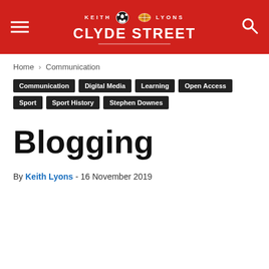KEITH LYONS · CLYDE STREET (navigation header with logo)
Home › Communication
Communication
Digital Media
Learning
Open Access
Sport
Sport History
Stephen Downes
Blogging
By Keith Lyons - 16 November 2019